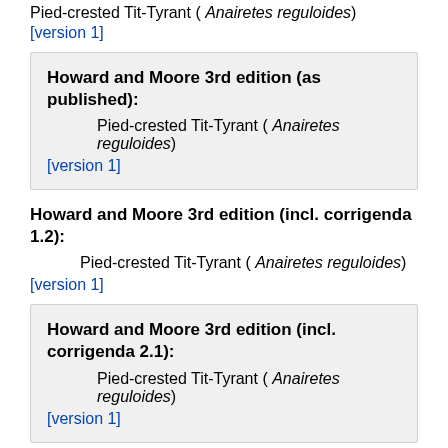Pied-crested Tit-Tyrant ( Anairetes reguloides)
[version 1]
Howard and Moore 3rd edition (as published):
Pied-crested Tit-Tyrant ( Anairetes reguloides)
[version 1]
Howard and Moore 3rd edition (incl. corrigenda 1.2):
Pied-crested Tit-Tyrant ( Anairetes reguloides)
[version 1]
Howard and Moore 3rd edition (incl. corrigenda 2.1):
Pied-crested Tit-Tyrant ( Anairetes reguloides)
[version 1]
Howard and Moore 3rd edition (incl. corrigenda 3.1):